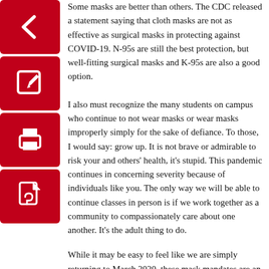Some masks are better than others. The CDC released a statement saying that cloth masks are not as effective as surgical masks in protecting against COVID-19. N-95s are still the best protection, but well-fitting surgical masks and K-95s are also a good option. I also must recognize the many students on campus who continue to not wear masks or wear masks improperly simply for the sake of defiance. To those, I would say: grow up. It is not brave or admirable to risk your and others' health, it's stupid. This pandemic continues in concerning severity because of individuals like you. The only way we will be able to continue classes in person is if we work together as a community to compassionately care about one another. It's the adult thing to do.
While it may be easy to feel like we are simply returning to March 2020, these mask mandates are an encouraging sign that we, as a state, are learning from our mistakes. We're layering up multiple protections against COVID-19 so that we can stay on campus safely. There's no harm in a piece of fabric over your face, so let's all do our part for a brighter future.